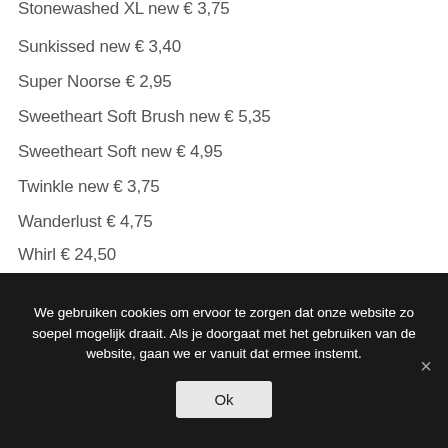Stonewashed XL new € 3,75
Sunkissed new € 3,40
Super Noorse € 2,95
Sweetheart Soft Brush new € 5,35
Sweetheart Soft new € 4,95
Twinkle new € 3,75
Wanderlust  € 4,75
Whirl € 24,50
Whirl – Fine Art € 33,95
Whirlette new € 7,35
Whirligig € 79,00
We gebruiken cookies om ervoor te zorgen dat onze website zo soepel mogelijk draait. Als je doorgaat met het gebruiken van de website, gaan we er vanuit dat ermee instemt.